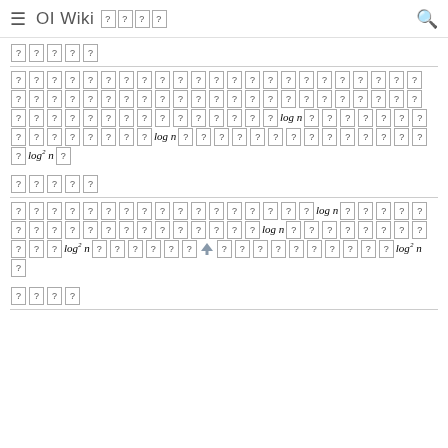OI Wiki [unknown characters]
[unknown characters x5]
[unknown characters] log n [unknown characters] log n [unknown characters] log^2 n [unknown characters]
[unknown characters x5]
[unknown characters] log n [unknown characters] log n [unknown characters] log^2 n [unknown characters] log^2 n [unknown characters]
[unknown characters x4]